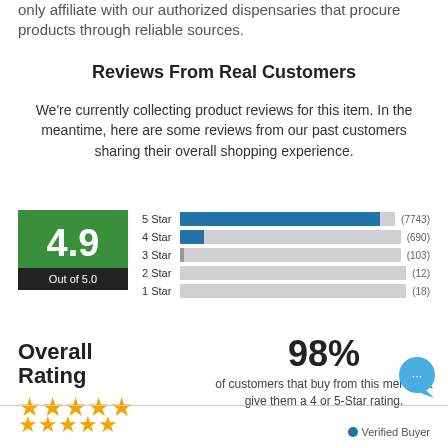only affiliate with our authorized dispensaries that procure products through reliable sources.
Reviews From Real Customers
We're currently collecting product reviews for this item. In the meantime, here are some reviews from our past customers sharing their overall shopping experience.
[Figure (bar-chart): 4.9 Out of 5.0]
Overall Rating
98% of customers that buy from this merchant give them a 4 or 5-Star rating.
Verified Buyer